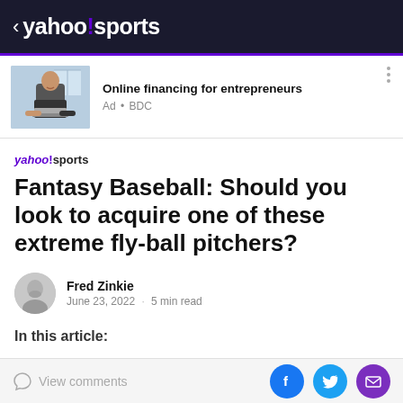< yahoo!sports
[Figure (other): Advertisement banner: man with laptop image, text 'Online financing for entrepreneurs', Ad • BDC]
yahoo!sports
Fantasy Baseball: Should you look to acquire one of these extreme fly-ball pitchers?
Fred Zinkie
June 23, 2022 · 5 min read
In this article:
View comments